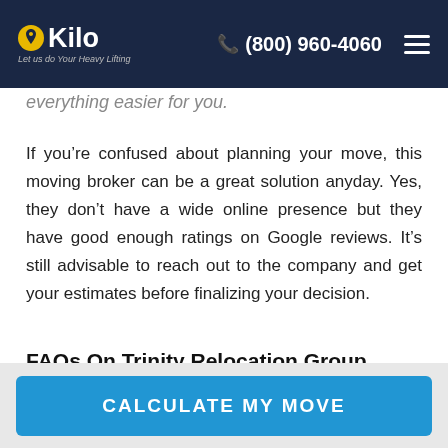Kilo - Let us do Your Heavy Lifting | (800) 960-4060
everything easier for you.
If you're confused about planning your move, this moving broker can be a great solution anyday. Yes, they don't have a wide online presence but they have good enough ratings on Google reviews. It's still advisable to reach out to the company and get your estimates before finalizing your decision.
FAQs On Trinity Relocation Group Review
Is Trinity Relocation Group A Moving Company?
CALCULATE MY MOVE